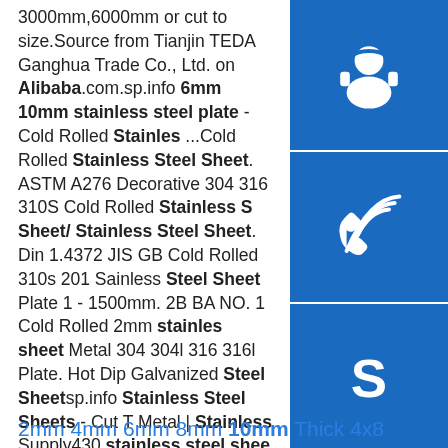3000mm,6000mm or cut to size.Source from Tianjin TEDA Ganghua Trade Co., Ltd. on Alibaba.com.sp.info 6mm 10mm stainless steel plate - Cold Rolled Stainless ...Cold Rolled Stainless Steel Sheet. ASTM A276 Decorative 304 316 310S Cold Rolled Stainless Steel Sheet/ Stainless Steel Sheet. Din 1.4372 JIS GB Cold Rolled 310s 201 Sainless Steel Sheet Plate 1 - 1500mm. 2B BA NO. 1 Cold Rolled 2mm stainless sheet Metal 304 304l 316 316l Plate. Hot Dip Galvanized Steel Sheetsp.info Stainless Steel Sheets - Cut To Metal | Stainless Supply430 stainless steel sheet finish is the brushed finish commonly seen on kitchen appliances and backsplashes. 430 Stainless Steel Sheet #4 finish has a PVC film on one side to help protect against scratching during fabrication and installation. Our 430 stainless steel sheet metal meets the criteria for both the #3 and #4 finish.
[Figure (infographic): Three blue square buttons on the right side: top button shows a headset/support icon, middle button shows a phone/call icon, bottom button shows an 'S' Skype icon.]
2mm 4mm 6mm 8mm 10mm Thick 4x8